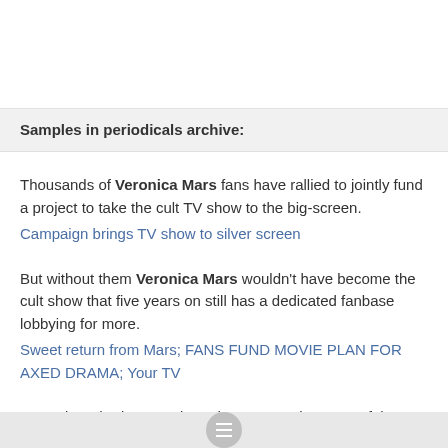Samples in periodicals archive:
Thousands of Veronica Mars fans have rallied to jointly fund a project to take the cult TV show to the big-screen.
Campaign brings TV show to silver screen
But without them Veronica Mars wouldn't have become the cult show that five years on still has a dedicated fanbase lobbying for more.
Sweet return from Mars; FANS FUND MOVIE PLAN FOR AXED DRAMA; Your TV
Guttenberg had a recurring role on second season of the TV series Veronica Mars as Woo odman, a wealthy,